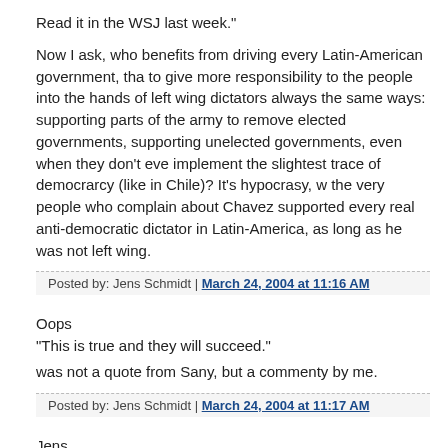Read it in the WSJ last week."
Now I ask, who benefits from driving every Latin-American government, tha to give more responsibility to the people into the hands of left wing dictators always the same ways: supporting parts of the army to remove elected governments, supporting unelected governments, even when they don't eve implement the slightest trace of democrarcy (like in Chile)? It's hypocrasy, w the very people who complain about Chavez supported every real anti-democratic dictator in Latin-America, as long as he was not left wing.
Posted by: Jens Schmidt | March 24, 2004 at 11:16 AM
Oops
"This is true and they will succeed."

was not a quote from Sany, but a commenty by me.
Posted by: Jens Schmidt | March 24, 2004 at 11:17 AM
Jens,

You make some very sweeping statements about Latin America:

>It's not that they're oil rich, it's that the governments are corrupt.